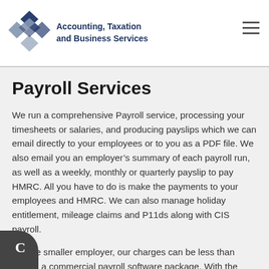[Figure (logo): Accounting, Taxation and Business Services logo with geometric diamond/cube shapes in dark blue and grey, and company name text]
Payroll Services
We run a comprehensive Payroll service, processing your timesheets or salaries, and producing payslips which we can email directly to your employees or to you as a PDF file. We also email you an employer's summary of each payroll run, as well as a weekly, monthly or quarterly payslip to pay HMRC. All you have to do is make the payments to your employees and HMRC. We can also manage holiday entitlement, mileage claims and P11ds along with CIS payroll.
For the smaller employer, our charges can be less than buying a commercial payroll software package. With the introduction of auto-enrolment pension schemes and all documentation that goes with them, our services